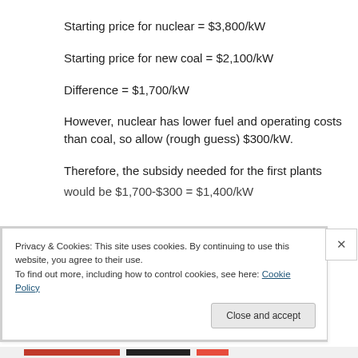Starting price for nuclear = $3,800/kW
Starting price for new coal = $2,100/kW
Difference = $1,700/kW
However, nuclear has lower fuel and operating costs than coal, so allow (rough guess) $300/kW.
Therefore, the subsidy needed for the first plants would be $1,700-$300 = $1,400/kW
Privacy & Cookies: This site uses cookies. By continuing to use this website, you agree to their use.
To find out more, including how to control cookies, see here: Cookie Policy